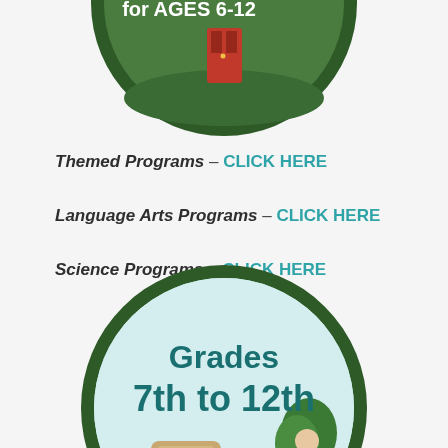[Figure (illustration): Circular green badge with white text 'for AGES 6-12' and illustration of a red schoolhouse door, partially visible at top of page]
Themed Programs – CLICK HERE
Language Arts Programs – CLICK HERE
Science Programs – CLICK HERE
[Figure (illustration): Circular light blue/teal badge with dark green border showing 'Grades 7th to 12th' text, vintage black automobile, man in gray suit, green trees and grass. Text 'Learning' visible at bottom. Partially cut off at bottom of page.]